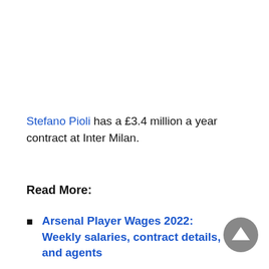Stefano Pioli has a £3.4 million a year contract at Inter Milan.
Read More:
Arsenal Player Wages 2022: Weekly salaries, contract details, and agents
Top 5 Manchester City fan chants
Top 5 Leeds United fan chants